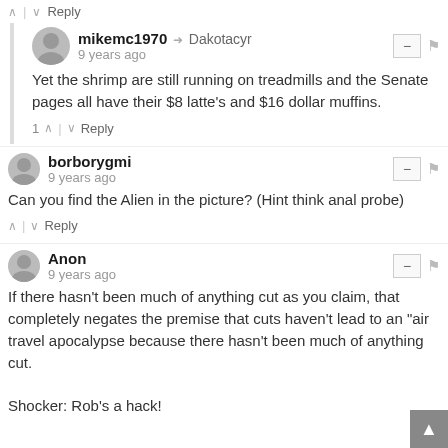^ | v  Reply
mikemc1970 → Dakotacyr
9 years ago
Yet the shrimp are still running on treadmills and the Senate pages all have their $8 latte's and $16 dollar muffins.
1 ^ | v  Reply
borborygmi
9 years ago
Can you find the Alien in the picture? (Hint think anal probe)
^ | v  Reply
Anon
9 years ago
If there hasn't been much of anything cut as you claim, that completely negates the premise that cuts haven't lead to an "air travel apocalypse because there hasn't been much of anything cut.

Shocker: Rob's a hack!